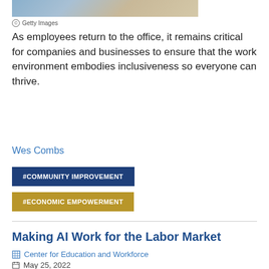[Figure (photo): Partial view of a photo showing people in an office/workplace setting, cropped at top]
© Getty Images
As employees return to the office, it remains critical for companies and businesses to ensure that the work environment embodies inclusiveness so everyone can thrive.
Wes Combs
#COMMUNITY IMPROVEMENT
#ECONOMIC EMPOWERMENT
Making AI Work for the Labor Market
Center for Education and Workforce
May 25, 2022
[Figure (photo): Bottom strip of a photo, partially visible at page bottom]